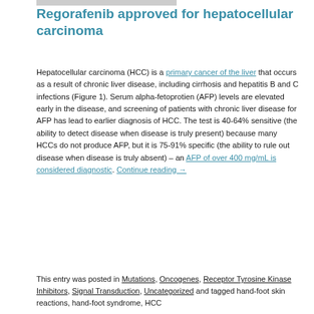Regorafenib approved for hepatocellular carcinoma
Hepatocellular carcinoma (HCC) is a primary cancer of the liver that occurs as a result of chronic liver disease, including cirrhosis and hepatitis B and C infections (Figure 1). Serum alpha-fetoprotien (AFP) levels are elevated early in the disease, and screening of patients with chronic liver disease for AFP has lead to earlier diagnosis of HCC. The test is 40-64% sensitive (the ability to detect disease when disease is truly present) because many HCCs do not produce AFP, but it is 75-91% specific (the ability to rule out disease when disease is truly absent) – an AFP of over 400 mg/mL is considered diagnostic. Continue reading →
This entry was posted in Mutations, Oncogenes, Receptor Tyrosine Kinase Inhibitors, Signal Transduction, Uncategorized and tagged hand-foot skin reactions, hand-foot syndrome, HCC